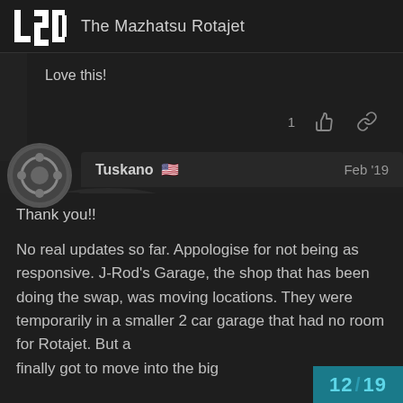L2D — The Mazhatsu Rotajet
Love this!
[Figure (photo): Dark background with a partially visible car, likely a Japanese sports/sedan car in low-light conditions]
Tuskano 🇺🇸   Feb '19
Thank you!!
No real updates so far. Appologise for not being as responsive. J-Rod's Garage, the shop that has been doing the swap, was moving locations. They were temporarily in a smaller 2 car garage that had no room for Rotajet. But a finally got to move into the big
12 / 19